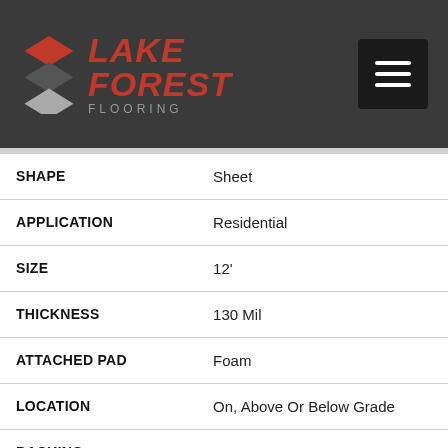[Figure (logo): Lake Forest Flooring logo with stacked diamond shapes in red and grey, with brand name in red italic bold text and FLOORING subtitle in grey]
| Attribute | Value |
| --- | --- |
| SHAPE | Sheet |
| APPLICATION | Residential |
| SIZE | 12' |
| THICKNESS | 130 Mil |
| ATTACHED PAD | Foam |
| LOCATION | On, Above Or Below Grade |
| BACKING | EVA Foam |
| LOOK | Stone |
| INSTALLATION | Permanent Bond |